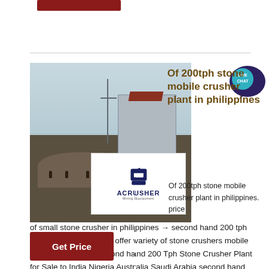[Figure (photo): A construction/mining site with a building, power pole, workers, and gravel piles. An ACRUSHER Mining Equipment logo overlay is visible in the lower right of the image.]
Of 200tph stone mobile crusher plant in philippines
Of 200tph stone mobile crusher plant in philippines. price of small stone crusher in philippines → second hand 200 tph stone crusher plant We offer variety of stone crushers mobile crushing plant and second hand 200 Tph Stone Crusher Plant for Sale to India Nigeria Australia Saudi Arabia second hand tph stone crusher plant crusher